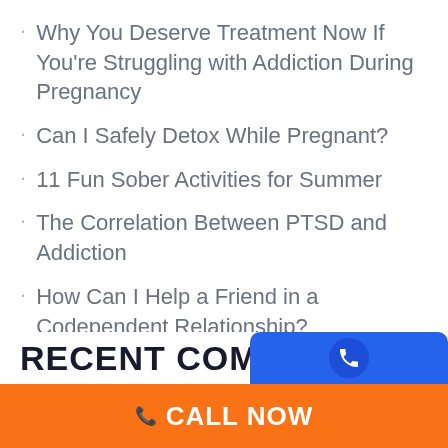Why You Deserve Treatment Now If You're Struggling with Addiction During Pregnancy
Can I Safely Detox While Pregnant?
11 Fun Sober Activities for Summer
The Correlation Between PTSD and Addiction
How Can I Help a Friend in a Codependent Relationship?
RECENT COMM…
CALL NOW